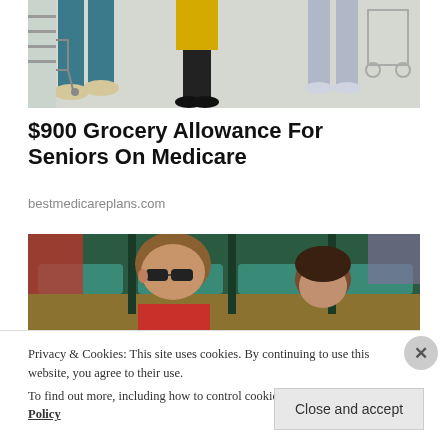[Figure (photo): Photo of people with shopping carts in a grocery store, showing legs and lower bodies, light-colored floor]
$900 Grocery Allowance For Seniors On Medicare
bestmedicareplans.com
[Figure (photo): Photo of a man with sunglasses and a woman sitting in stadium/arena seats with green and teal colored seats]
Privacy & Cookies: This site uses cookies. By continuing to use this website, you agree to their use.
To find out more, including how to control cookies, see here: Cookie Policy
Close and accept